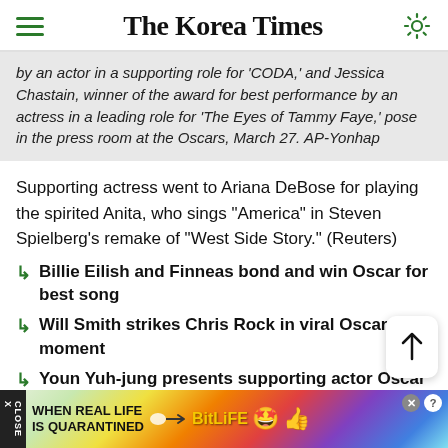The Korea Times
by an actor in a supporting role for 'CODA,' and Jessica Chastain, winner of the award for best performance by an actress in a leading role for 'The Eyes of Tammy Faye,' pose in the press room at the Oscars, March 27. AP-Yonhap
Supporting actress went to Ariana DeBose for playing the spirited Anita, who sings "America" in Steven Spielberg's remake of "West Side Story." (Reuters)
Billie Eilish and Finneas bond and win Oscar for best song
Will Smith strikes Chris Rock in viral Oscars moment
Youn Yuh-jung presents supporting actor Oscar in